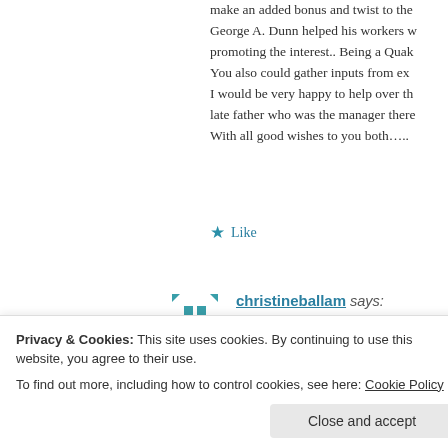make an added bonus and twist to the George A. Dunn helped his workers w promoting the interest.. Being a Quak You also could gather inputs from ex I would be very happy to help over th late father who was the manager there With all good wishes to you both…..
★ Like
christineballam says:
November 1, 2020 at 4:51 pm
Hello Jill and Nigel, my brother and I
Privacy & Cookies: This site uses cookies. By continuing to use this website, you agree to their use.
To find out more, including how to control cookies, see here: Cookie Policy
Close and accept